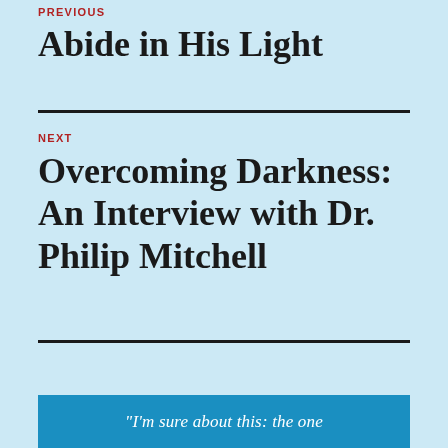PREVIOUS
Abide in His Light
NEXT
Overcoming Darkness: An Interview with Dr. Philip Mitchell
"I'm sure about this: the one